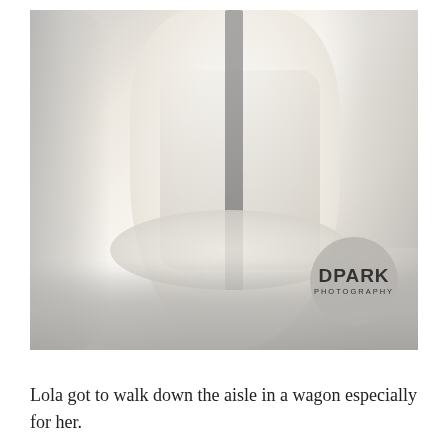[Figure (photo): Wedding photo showing a bride in a large white ruffled ball gown wedding dress with a gray ribbon sash, viewed from behind/side. The dress has voluminous layers of fabric pooling on the floor. A bouquet is visible being held. The image has a soft, blurred bokeh style. A circular watermark reads 'DPARK PHOTOGRAPHY' in the lower right corner.]
Lola got to walk down the aisle in a wagon especially for her.